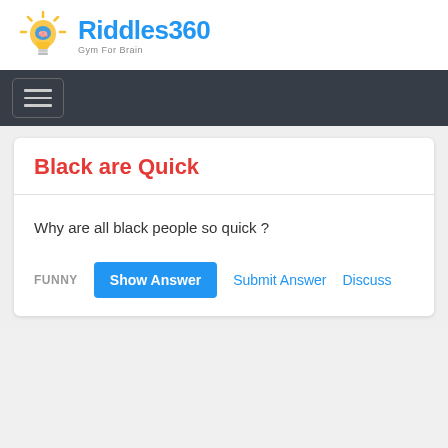[Figure (logo): Riddles360 logo with a lightbulb icon containing a brain, blue text 'Riddles360' and subtitle 'Gym For Brain']
Riddles360 - Gym For Brain
Black are Quick
Why are all black people so quick ?
FUNNY  Show Answer  Submit Answer  Discuss